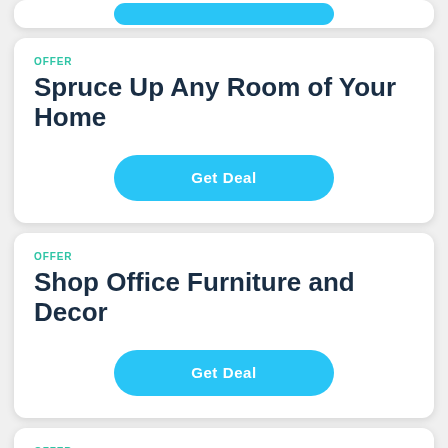[Figure (screenshot): Top of a card with a blue 'Get Deal' button partially visible]
OFFER
Spruce Up Any Room of Your Home
Get Deal
OFFER
Shop Office Furniture and Decor
Get Deal
OFFER